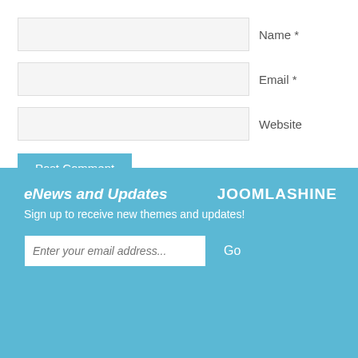Name *
Email *
Website
Post Comment
eNews and Updates
JOOMLASHINE
Sign up to receive new themes and updates!
Enter your email address...
Go